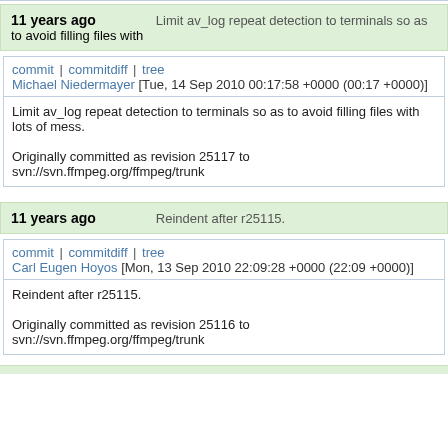11 years ago   Limit av_log repeat detection to terminals so as to avoid filling files with
commit | commitdiff | tree
Michael Niedermayer [Tue, 14 Sep 2010 00:17:58 +0000 (00:17 +0000)]
Limit av_log repeat detection to terminals so as to avoid filling files with lots of mess.

Originally committed as revision 25117 to svn://svn.ffmpeg.org/ffmpeg/trunk
11 years ago   Reindent after r25115.
commit | commitdiff | tree
Carl Eugen Hoyos [Mon, 13 Sep 2010 22:09:28 +0000 (22:09 +0000)]
Reindent after r25115.

Originally committed as revision 25116 to svn://svn.ffmpeg.org/ffmpeg/trunk